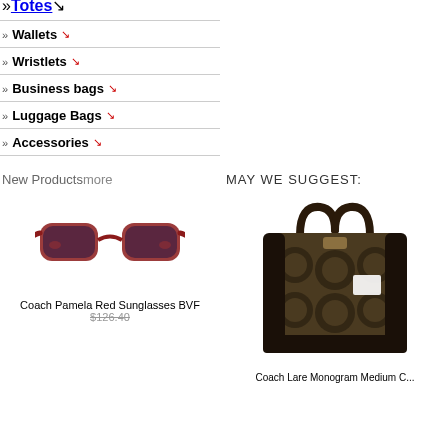Totes ↗
Wallets ↗
Wristlets ↗
Business bags ↗
Luggage Bags ↗
Accessories ↗
New Productsmore
[Figure (photo): Coach Pamela Red Sunglasses BVF - red sunglasses with dark lenses]
Coach Pamela Red Sunglasses BVF
$126.40 (strikethrough price)
MAY WE SUGGEST:
[Figure (photo): Coach Large Monogram Medium handbag - dark brown signature pattern tote with leather handles]
Coach Lare Monogram Medium C...